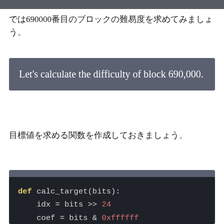では690000番目のブロックの難易度を求めてみましょう。
[Figure (other): Dark grey callout box with white text: Let's calculate the difficulty of block 690,000.]
目標値を求める関数を作成しておきましょう。
[Figure (other): Dark grey callout box with white text: Create a function that calculates the target value.]
[Figure (screenshot): Code block showing Python function: def calc_target(bits): idx = bits >> 24, coef = bits & 0xffffff]